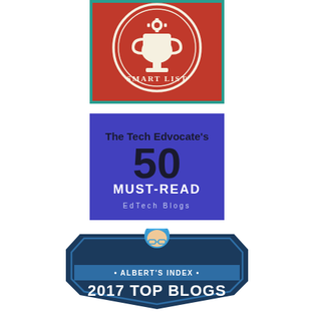[Figure (logo): Red square badge with circular border design, trophy/cup icon with gear details at top, text 'SMART LIST' at bottom in cream/white lettering on red background with teal/green border accent]
[Figure (logo): Blue/purple square badge reading 'The Tech Edvocate's 50 MUST-READ EdTech Blogs' with large bold '50' as central element]
[Figure (logo): Dark navy blue shield/badge shape with illustrated face wearing glasses at top, text '• ALBERT'S INDEX •' in middle band, and '2017 TOP BLOGS' in large white text at bottom]